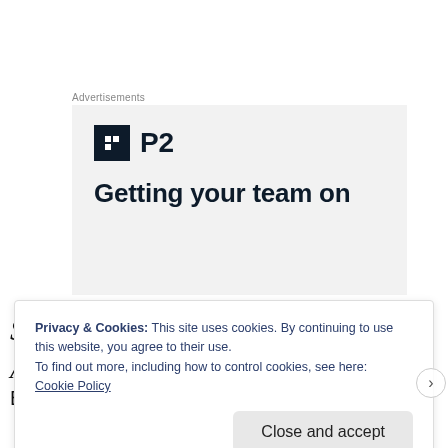Advertisements
[Figure (screenshot): P2 advertisement banner with logo and tagline 'Getting your team on']
Shadowrun
A Song of Fire & Ice
Privacy & Cookies: This site uses cookies. By continuing to use this website, you agree to their use.
To find out more, including how to control cookies, see here:
Cookie Policy
Close and accept